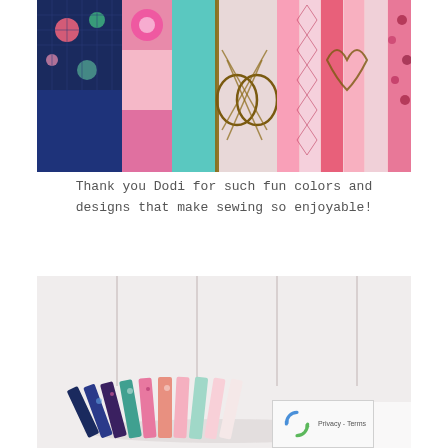[Figure (photo): Close-up photo of colorful quilting fabrics hanging or stacked together, showing floral, checkered, and patterned fabrics in pink, navy, teal, and green colors, with a wire rack/structure visible in the middle.]
Thank you Dodi for such fun colors and designs that make sewing so enjoyable!
[Figure (photo): Photo of stacks of folded fabric arranged in a fan/gradient pattern on a white paneled background, showing fabrics in various floral and patterned prints in pink, navy, teal, and coral colors.]